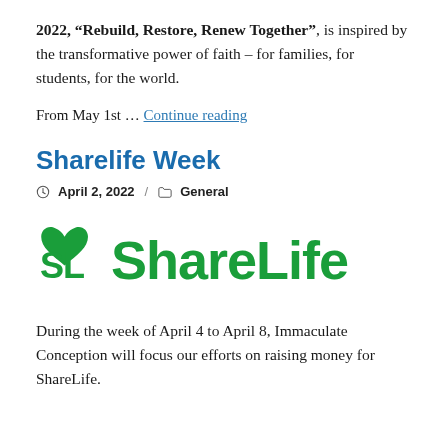2022, “Rebuild, Restore, Renew Together”, is inspired by the transformative power of faith – for families, for students, for the world.
From May 1st … Continue reading
Sharelife Week
April 2, 2022 / General
[Figure (logo): ShareLife logo in green with stylized SL icon on the left and 'ShareLife' text on the right]
During the week of April 4 to April 8, Immaculate Conception will focus our efforts on raising money for ShareLife.